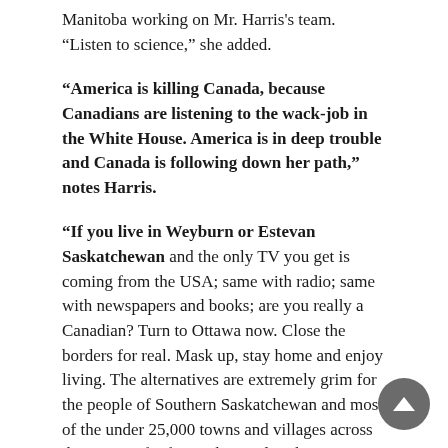Manitoba working on Mr. Harris's team. “Listen to science,” she added.
“America is killing Canada, because Canadians are listening to the wack-job in the White House. America is in deep trouble and Canada is following down her path,” notes Harris.
“If you live in Weyburn or Estevan Saskatchewan and the only TV you get is coming from the USA; same with radio; same with newspapers and books; are you really a Canadian? Turn to Ottawa now. Close the borders for real. Mask up, stay home and enjoy living. The alternatives are extremely grim for the people of Southern Saskatchewan and most of the under 25,000 towns and villages across the country far from a hospital with a COVID-19 ICU. Many of those Canadians will die from a SARS2 infection. Do not take that risk.”